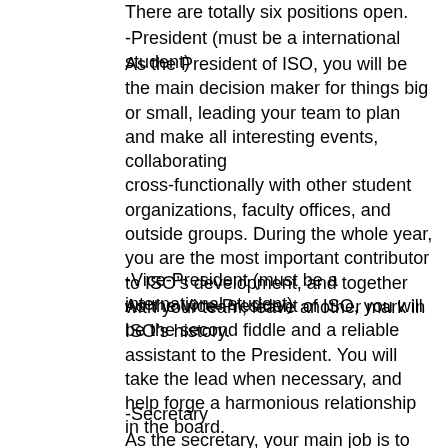There are totally six positions open.
-President (must be a international student)
As the President of ISO, you will be the main decision maker for things big or small, leading your team to plan and make all interesting events, collaborating cross-functionally with other student organizations, faculty offices, and outside groups. During the whole year, you are the most important contributor to ISO’s development, and together with your team, leave another mark in ISO’s history.
-Vice-President (must be a international student)
As the Vice-President of ISO, you will be the second fiddle and a reliable assistant to the President. You will take the lead when necessary, and help forge a harmonious relationship in the board.
-Secretary
As the secretary, your main job is to keep board